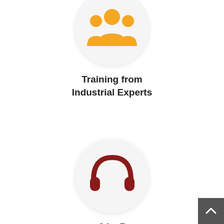[Figure (illustration): Orange group/people icon in a light gray circular background]
Training from Industrial Experts
[Figure (illustration): Dark red headphones/headset icon in a light gray circular background]
24 x 7 Expert Support
[Figure (illustration): Blue handshake icon in a light gray circular background]
Hands on Practicals/ Projects
[Figure (illustration): Blue crown/flower icon in a light gray circular background (partially visible at bottom)]
[Figure (illustration): Red circular phone call button on right side]
[Figure (illustration): Green WhatsApp circular button on right side]
[Figure (illustration): Dark gray scroll-to-top button at bottom right corner]